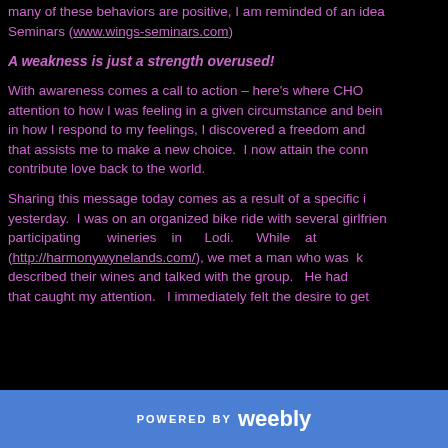many of these behaviors are positive, I am reminded of an idea from Wings Seminars (www.wings-seminars.com)
A weakness is just a strength overused!
With awareness comes a call to action – here's where CHOI... attention to how I was feeling in a given circumstance and bein... in how I respond to my feelings, I discovered a freedom and... that assists me to make a new choice.  I now attain the conn... contribute love back to the world.
Sharing this message today comes as a result of a specific i... yesterday.  I was on an organized bike ride with several girlfrien... participating wineries in Lodi.  While at (http://harmonywynelands.com/), we met a man who was k... described their wines and talked with the group.  He had... that caught my attention.  I immediately felt the desire to get
POWERED BY weebly